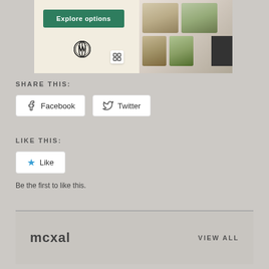[Figure (screenshot): WordPress website builder promotional banner with 'Explore options' green button, WordPress logo, Squarespace icon, and food photography app screenshots on the right]
SHARE THIS:
Facebook
Twitter
LIKE THIS:
Like
Be the first to like this.
mcxal
VIEW ALL